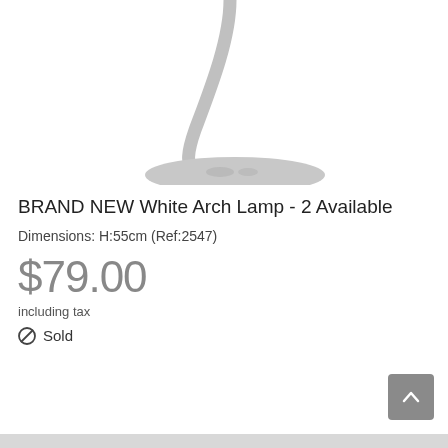[Figure (photo): Partial view of a white arch lamp, showing the curved neck and oval base, on a white background.]
BRAND NEW White Arch Lamp - 2 Available
Dimensions: H:55cm (Ref:2547)
$79.00
including tax
Sold